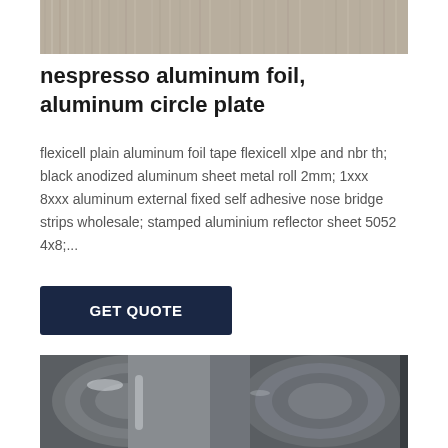[Figure (photo): Close-up of brushed aluminum/metallic surface with a tan/beige-gray tone and vertical scratch-like texture.]
nespresso aluminum foil, aluminum circle plate
flexicell plain aluminum foil tape flexicell xlpe and nbr th; black anodized aluminum sheet metal roll 2mm; 1xxx 8xxx aluminum external fixed self adhesive nose bridge strips wholesale; stamped aluminium reflector sheet 5052 4x8;...
GET QUOTE
[Figure (photo): Photo of large rolls of gray/dark aluminum sheet metal coils stacked together, showing reflective metallic surface.]